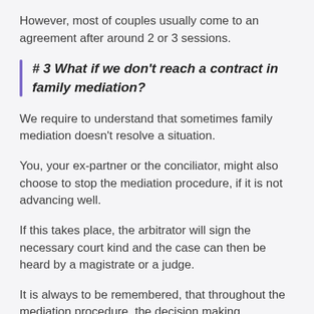However, most of couples usually come to an agreement after around 2 or 3 sessions.
# 3 What if we don't reach a contract in family mediation?
We require to understand that sometimes family mediation doesn't resolve a situation.
You, your ex-partner or the conciliator, might also choose to stop the mediation procedure, if it is not advancing well.
If this takes place, the arbitrator will sign the necessary court kind and the case can then be heard by a magistrate or a judge.
It is always to be remembered, that throughout the mediation procedure, the decision making